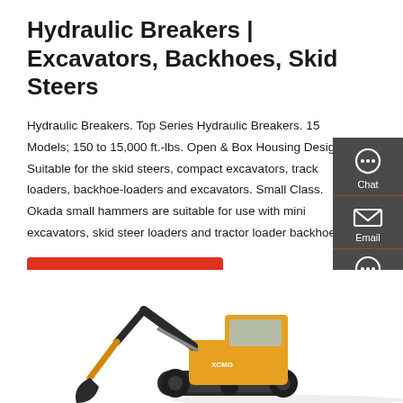Hydraulic Breakers | Excavators, Backhoes, Skid Steers
Hydraulic Breakers. Top Series Hydraulic Breakers. 15 Models; 150 to 15,000 ft.-lbs. Open & Box Housing Design; Suitable for the skid steers, compact excavators, track loaders, backhoe-loaders and excavators. Small Class. Okada small hammers are suitable for use with mini excavators, skid steer loaders and tractor loader backhoes.
Get a quote
[Figure (screenshot): Sidebar with Chat, Email, and Contact icons on dark grey background with red dividers]
[Figure (photo): Yellow and grey excavator machine photographed from the side, partial view showing boom arm, bucket, and undercarriage]